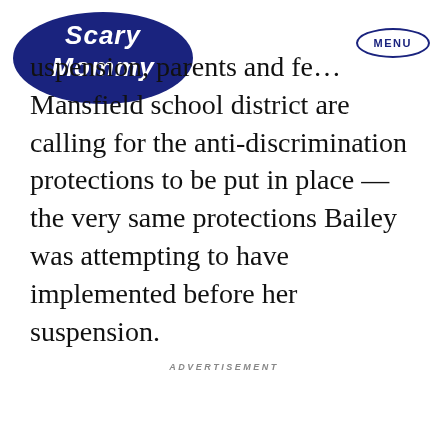[Figure (logo): Scary Mommy logo — navy blue bubble-style script wordmark]
MENU
suspension, parents and fe… Mansfield school district are calling for the anti-discrimination protections to be put in place — the very same protections Bailey was attempting to have implemented before her suspension.
ADVERTISEMENT